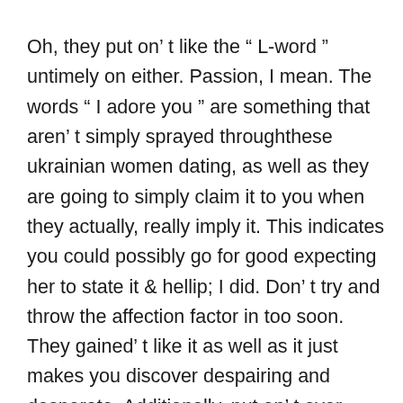Oh, they put on't like the " L-word " untimely on either. Passion, I mean. The words " I adore you " are something that aren't simply sprayed throughthese ukrainian women dating, as well as they are going to simply claim it to you when they actually, really imply it. This indicates you could possibly go for good expecting her to state it & hellip; I did. Don't try and throw the affection factor in too soon. They gained't like it as well as it just makes you discover despairing and desperate. Additionally, put on't ever before mention it if you'don't indicate it. Or even if you aren't sure. Wh...